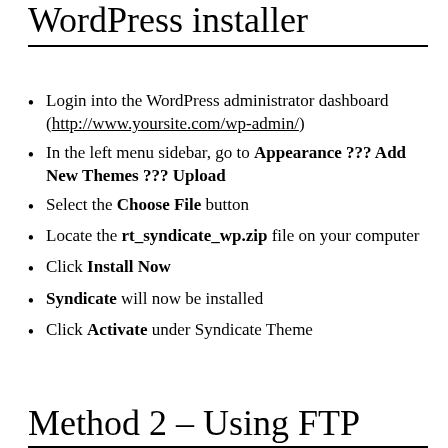WordPress installer
Login into the WordPress administrator dashboard (http://www.yoursite.com/wp-admin/)
In the left menu sidebar, go to Appearance ??? Add New Themes ??? Upload
Select the Choose File button
Locate the rt_syndicate_wp.zip file on your computer
Click Install Now
Syndicate will now be installed
Click Activate under Syndicate Theme
Method 2 – Using FTP